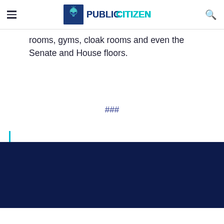Public Citizen
rooms, gyms, cloak rooms and even the Senate and House floors.
###